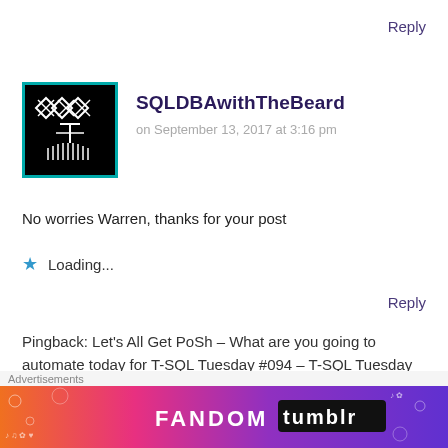Reply
[Figure (illustration): Avatar image: black background with white geometric diamond/cross pattern and stylized figure, teal border]
SQLDBAwithTheBeard
on September 13, 2017 at 3:16 pm
No worries Warren, thanks for your post
★  Loading...
Reply
Pingback: Let’s All Get PoSh – What are you going to automate today for T-SQL Tuesday #094 – T-SQL Tuesday
Pingback: TSQL Tuesday #94 Get-
Advertisements
[Figure (illustration): Colorful Fandom on Tumblr advertisement banner with orange, pink, purple gradient and white decorative icons]